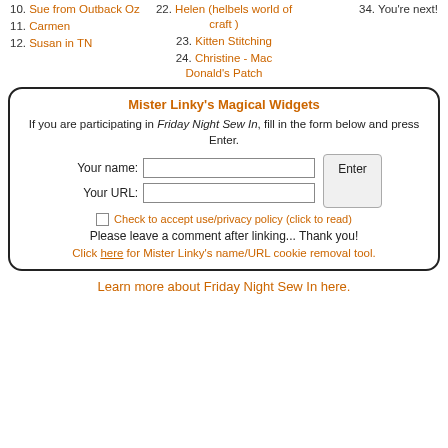10. Sue from Outback Oz
22. Helen (helbels world of craft )
34. You're next!
11. Carmen
23. Kitten Stitching
12. Susan in TN
24. Christine - Mac Donald's Patch
Mister Linky's Magical Widgets
If you are participating in Friday Night Sew In, fill in the form below and press Enter.
Your name:
Your URL:
Check to accept use/privacy policy (click to read)
Please leave a comment after linking... Thank you!
Click here for Mister Linky's name/URL cookie removal tool.
Learn more about Friday Night Sew In here.